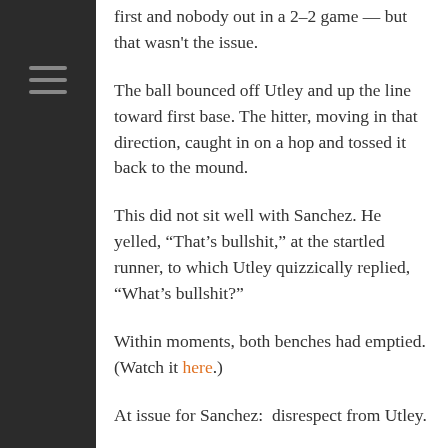first and nobody out in a 2–2 game — but that wasn't the issue.
The ball bounced off Utley and up the line toward first base. The hitter, moving in that direction, caught in on a hop and tossed it back to the mound.
This did not sit well with Sanchez. He yelled, “That’s bullshit,” at the startled runner, to which Utley quizzically replied, “What’s bullshit?”
Within moments, both benches had emptied. (Watch it here.)
At issue for Sanchez:  disrespect from Utley.
“You don’t throw the ball back to the pitcher,” he said in an ESPN report. “You’re a professional. You don’t